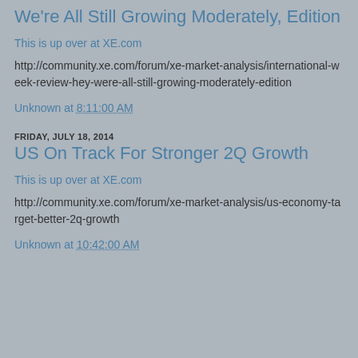We're All Still Growing Moderately, Edition
This is up over at XE.com
http://community.xe.com/forum/xe-market-analysis/international-week-review-hey-were-all-still-growing-moderately-edition
Unknown at 8:11:00 AM
FRIDAY, JULY 18, 2014
US On Track For Stronger 2Q Growth
This is up over at XE.com
http://community.xe.com/forum/xe-market-analysis/us-economy-target-better-2q-growth
Unknown at 10:42:00 AM